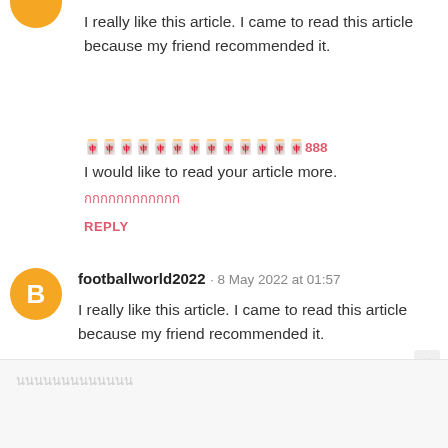I really like this article. I came to read this article because my friend recommended it.
🀄🀄🀄🀄🀄🀄🀄🀄🀄🀄🀄🀄🀄888
I would like to read your article more.
กกกกกกกกกกกก
REPLY
footballworld2022 · 8 May 2022 at 01:57
I really like this article. I came to read this article because my friend recommended it.
กกกกกกกกกกกกก